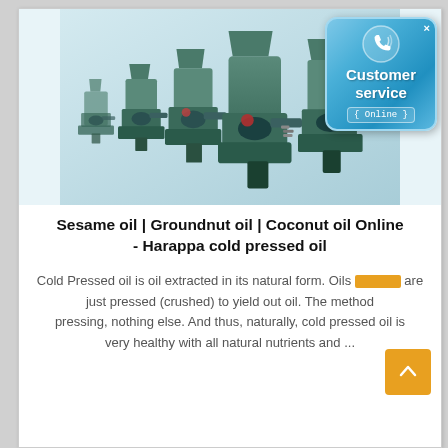[Figure (photo): Row of industrial oil press machines in green/teal color, with a Customer Service Online badge overlay in the top-right corner]
Sesame oil | Groundnut oil | Coconut oil Online - Harappa cold pressed oil
Cold Pressed oil is oil extracted in its natural form. Oils are just pressed (crushed) to yield out oil. The method pressing, nothing else. And thus, naturally, cold pressed oil is very healthy with all natural nutrients and ...